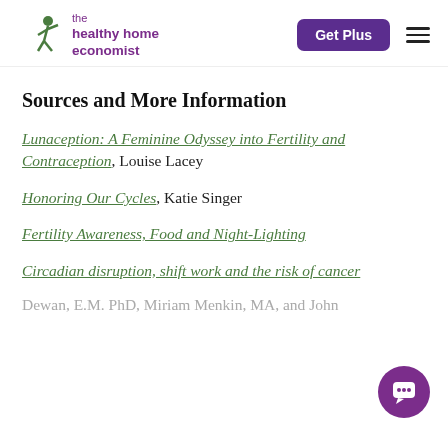the healthy home economist | Get Plus
Sources and More Information
Lunaception: A Feminine Odyssey into Fertility and Contraception, Louise Lacey
Honoring Our Cycles, Katie Singer
Fertility Awareness, Food and Night-Lighting
Circadian disruption, shift work and the risk of cancer
Dewan, E.M. PhD, Miriam Menkin, MA, and John